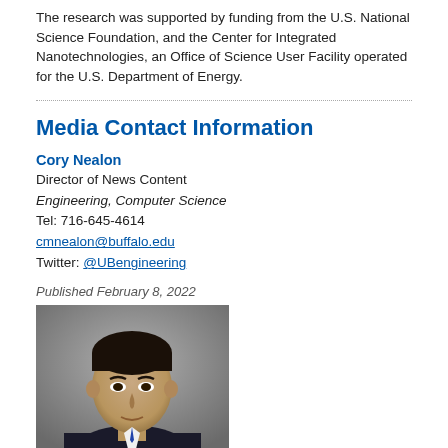The research was supported by funding from the U.S. National Science Foundation, and the Center for Integrated Nanotechnologies, an Office of Science User Facility operated for the U.S. Department of Energy.
Media Contact Information
Cory Nealon
Director of News Content
Engineering, Computer Science
Tel: 716-645-4614
cmnealon@buffalo.edu
Twitter: @UBengineering
Published February 8, 2022
[Figure (photo): Headshot photo of a man in professional attire against a gray background]